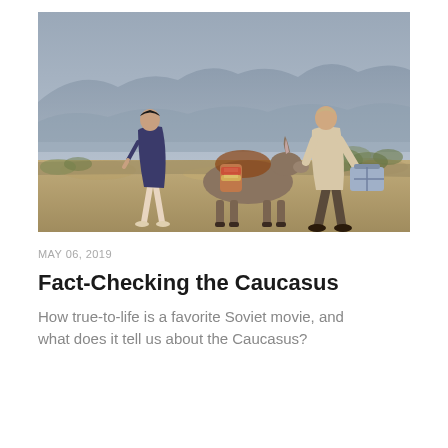[Figure (photo): A woman in a dark blue dress and a man in light clothing walking with a donkey carrying luggage, set against a mountainous Caucasus landscape background.]
MAY 06, 2019
Fact-Checking the Caucasus
How true-to-life is a favorite Soviet movie, and what does it tell us about the Caucasus?